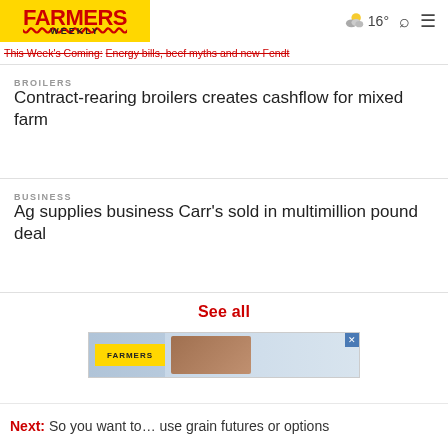FARMERS WEEKLY | 16° weather
This Week's Coming: Energy bills, beef myths and new Fendt
BROILERS
Contract-rearing broilers creates cashflow for mixed farm
BUSINESS
Ag supplies business Carr's sold in multimillion pound deal
See all
[Figure (photo): Advertisement banner with yellow button and photo of hands]
Next: So you want to… use grain futures or options